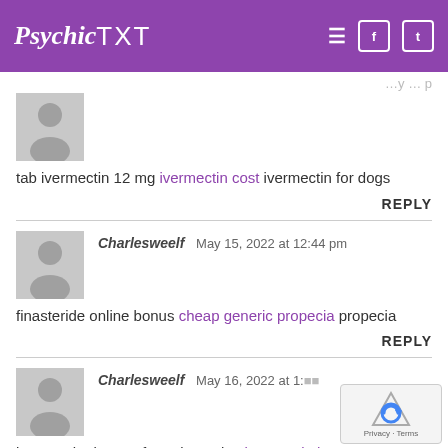PsychicTXT
tab ivermectin 12 mg ivermectin cost ivermectin for dogs
REPLY
Charlesweelf  May 15, 2022 at 12:44 pm
finasteride online bonus cheap generic propecia propecia
REPLY
Charlesweelf  May 16, 2022 at 1:
ivermectin dosage for guinea pigs ivermectin horse wormer